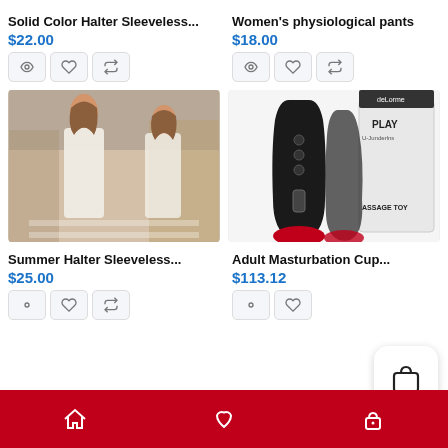Solid Color Halter Sleeveless...
$22.00
Women's physiological pants
$18.00
[Figure (photo): Woman wearing white sleeveless halter dress on city street]
[Figure (photo): Black adult massage toy product with box packaging labeled PLAY MASSAGE TOY]
Summer Halter Sleeveless...
$25.00
Adult Masturbation Cup...
$113.12